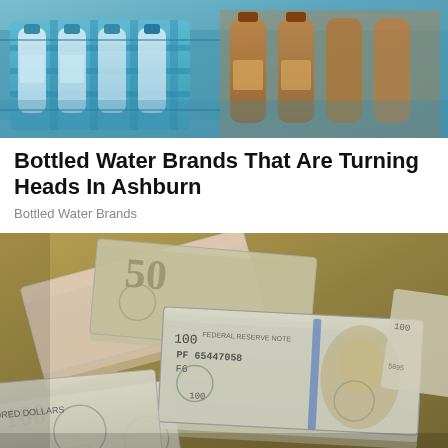[Figure (photo): Photo of bottled water products in blue plastic carriers/crates on a shelf or conveyor]
Bottled Water Brands That Are Turning Heads In Ashburn
Bottled Water Brands
[Figure (photo): Close-up photo of a pile of US dollar bills including $100 and $50 bills spread out]